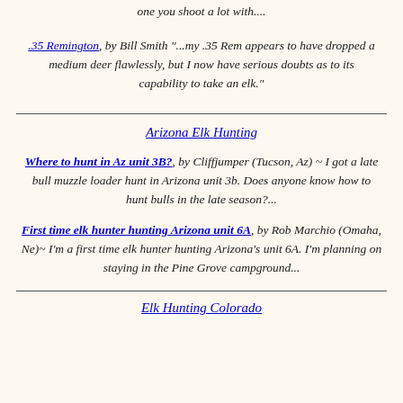one you shoot a lot with....
.35 Remington, by Bill Smith "...my .35 Rem appears to have dropped a medium deer flawlessly, but I now have serious doubts as to its capability to take an elk."
Arizona Elk Hunting
Where to hunt in Az unit 3B?, by Cliffjumper (Tucson, Az) ~ I got a late bull muzzle loader hunt in Arizona unit 3b. Does anyone know how to hunt bulls in the late season?...
First time elk hunter hunting Arizona unit 6A, by Rob Marchio (Omaha, Ne)~ I'm a first time elk hunter hunting Arizona's unit 6A. I'm planning on staying in the Pine Grove campground...
Elk Hunting Colorado